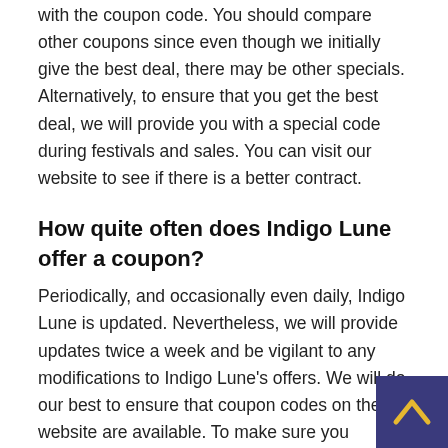with the coupon code. You should compare other coupons since even though we initially give the best deal, there may be other specials. Alternatively, to ensure that you get the best deal, we will provide you with a special code during festivals and sales. You can visit our website to see if there is a better contract.
How quite often does Indigo Lune offer a coupon?
Periodically, and occasionally even daily, Indigo Lune is updated. Nevertheless, we will provide updates twice a week and be vigilant to any modifications to Indigo Lune's offers. We will do our best to ensure that coupon codes on the website are available. To make sure you understand that the best offer comes first, we will monitor the situation. The items in your shopping cart can be checked to see if they meet the requirements of each promo code by browsing through all of them. Applying